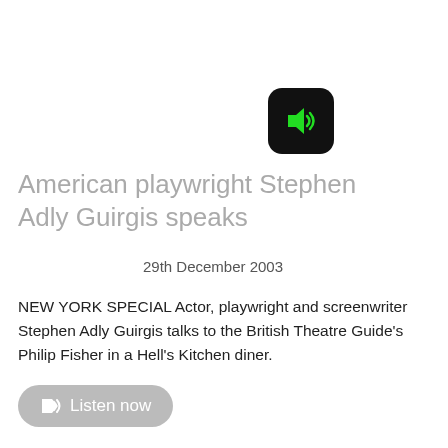[Figure (logo): Black rounded-square app icon with green speaker/audio icon]
American playwright Stephen Adly Guirgis speaks
29th December 2003
NEW YORK SPECIAL Actor, playwright and screenwriter Stephen Adly Guirgis talks to the British Theatre Guide's Philip Fisher in a Hell's Kitchen diner.
[Figure (other): Gray rounded button with speaker icon and text 'Listen now']
in American Drama, New Writing, Playwrights